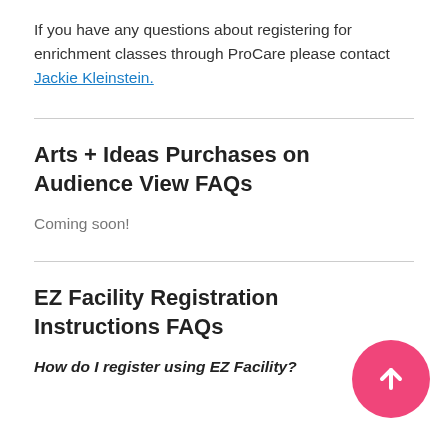If you have any questions about registering for enrichment classes through ProCare please contact Jackie Kleinstein.
Arts + Ideas Purchases on Audience View FAQs
Coming soon!
EZ Facility Registration Instructions FAQs
How do I register using EZ Facility?